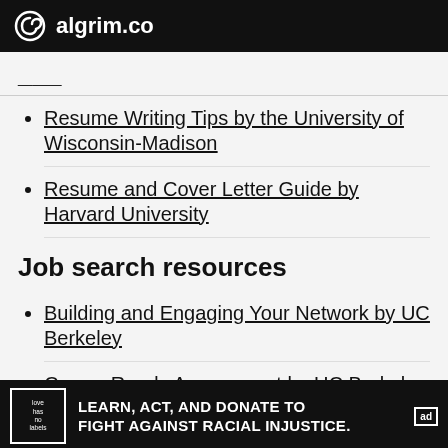algrim.co
Resume Writing Tips by the University of Wisconsin-Madison
Resume and Cover Letter Guide by Harvard University
Job search resources
Building and Engaging Your Network by UC Berkeley
Career Ready Assessment by UC Berkeley
[Figure (infographic): Advertisement banner: 'LEARN, ACT, AND DONATE TO FIGHT AGAINST RACIAL INJUSTICE.' with love has no labels logo and ad badge.]